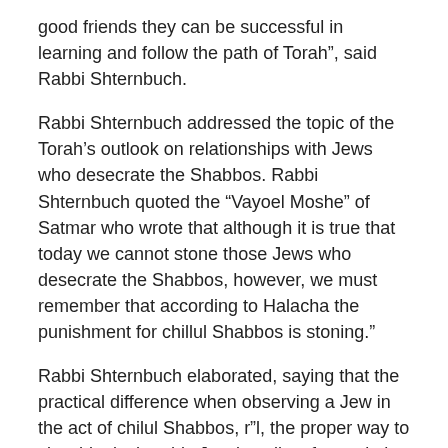good friends they can be successful in learning and follow the path of Torah”, said Rabbi Shternbuch.
Rabbi Shternbuch addressed the topic of the Torah’s outlook on relationships with Jews who desecrate the Shabbos. Rabbi Shternbuch quoted the “Vayoel Moshe” of Satmar who wrote that although it is true that today we cannot stone those Jews who desecrate the Shabbos, however, we must remember that according to Halacha the punishment for chillul Shabbos is stoning.”
Rabbi Shternbuch elaborated, saying that the practical difference when observing a Jew in the act of chilul Shabbos, r”l, the proper way to view him is that this Jew is guilty of a capital offense punishable by stoning.
When Rabbi Shternbuch was asked previously by a wealthy man if he must sell his shares in the “BIG’